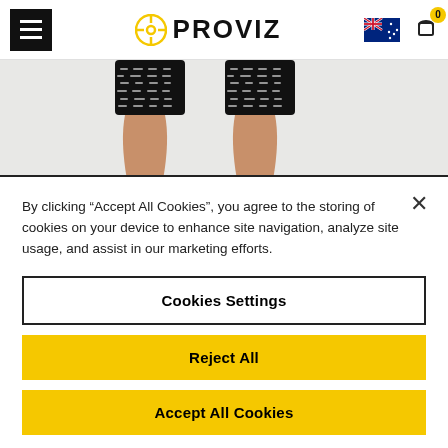[Figure (screenshot): Proviz website header with hamburger menu, Proviz logo, Australian flag and cart icon with badge 0]
[Figure (photo): Product photo showing two legs wearing black cycling shorts with reflective pattern and skin-tone lower legs on grey background]
By clicking “Accept All Cookies”, you agree to the storing of cookies on your device to enhance site navigation, analyze site usage, and assist in our marketing efforts.
Cookies Settings
Reject All
Accept All Cookies